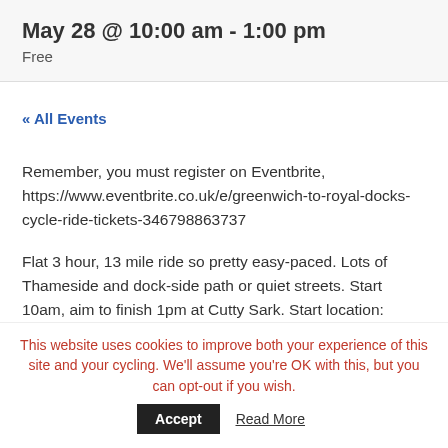May 28 @ 10:00 am - 1:00 pm
Free
« All Events
Remember, you must register on Eventbrite, https://www.eventbrite.co.uk/e/greenwich-to-royal-docks-cycle-ride-tickets-346798863737
Flat 3 hour, 13 mile ride so pretty easy-paced. Lots of Thameside and dock-side path or quiet streets. Start 10am, aim to finish 1pm at Cutty Sark. Start location: Greenwich Station. Meet at main entrance on Greenwich High Road, near
This website uses cookies to improve both your experience of this site and your cycling. We'll assume you're OK with this, but you can opt-out if you wish.
Accept
Read More